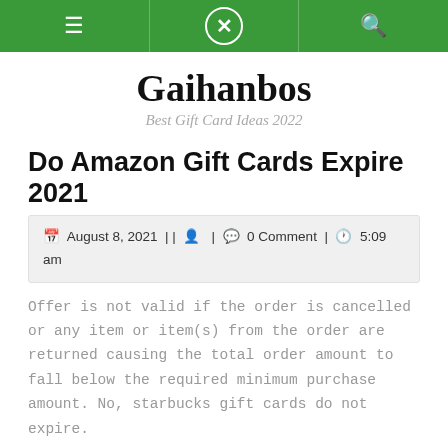Navigation bar with menu, logo/close, and search icons
Gaihanbos
Best Gift Card Ideas 2022
Do Amazon Gift Cards Expire 2021
August 8, 2021 | |   | 💬 0 Comment | ⏰ 5:09 am
Offer is not valid if the order is cancelled or any item or item(s) from the order are returned causing the total order amount to fall below the required minimum purchase amount. No, starbucks gift cards do not expire.
[Figure (photo): GIVEAWAY image banner with colorful orange/yellow gradient text on a blue sky background]